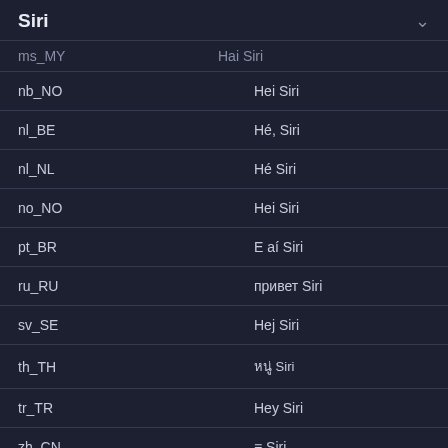Siri
| locale | phrase |
| --- | --- |
| ms_MY | Hai Siri |
| nb_NO | Hei Siri |
| nl_BE | Hé, Siri |
| nl_NL | Hé Siri |
| no_NO | Hei Siri |
| pt_BR | E aí Siri |
| ru_RU | привет Siri |
| sv_SE | Hej Siri |
| th_TH | ≡≡≡≡≡Siri |
| tr_TR | Hey Siri |
| zh_CN | ≡ Siri |
| zh_HK | ≡ Siri |